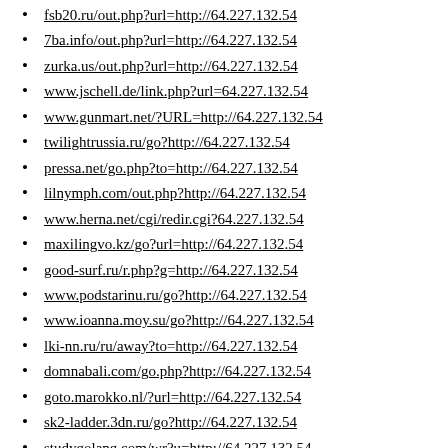fsb20.ru/out.php?url=http://64.227.132.54
7ba.info/out.php?url=http://64.227.132.54
zurka.us/out.php?url=http://64.227.132.54
www.jschell.de/link.php?url=64.227.132.54
www.gunmart.net/?URL=http://64.227.132.54
twilightrussia.ru/go?http://64.227.132.54
pressa.net/go.php?to=http://64.227.132.54
lilnymph.com/out.php?http://64.227.132.54
www.herna.net/cgi/redir.cgi?64.227.132.54
maxilingvo.kz/go?url=http://64.227.132.54
good-surf.ru/r.php?g=http://64.227.132.54
www.podstarinu.ru/go?http://64.227.132.54
www.ioanna.moy.su/go?http://64.227.132.54
lki-nn.ru/ru/away?to=http://64.227.132.54
domnabali.com/go.php?http://64.227.132.54
goto.marokko.nl/?url=http://64.227.132.54
sk2-ladder.3dn.ru/go?http://64.227.132.54
studygolang.com/wr?u=http://64.227.132.54
kazus.ru/url.php?url=http://64.227.132.54